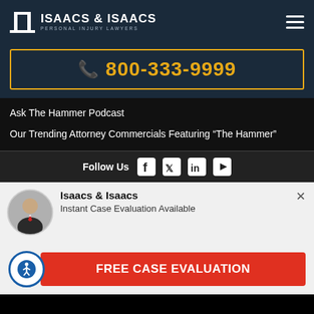[Figure (logo): Isaacs & Isaacs Personal Injury Lawyers logo with column icon on dark navy background, hamburger menu icon on right]
📞 800-333-9999
Ask The Hammer Podcast
Our Trending Attorney Commercials Featuring "The Hammer"
Follow Us
[Figure (infographic): Social media icons: Facebook, Twitter, LinkedIn, YouTube]
[Figure (photo): Circular avatar photo of attorney in suit with red tie]
Isaacs & Isaacs
Instant Case Evaluation Available
FREE CASE EVALUATION